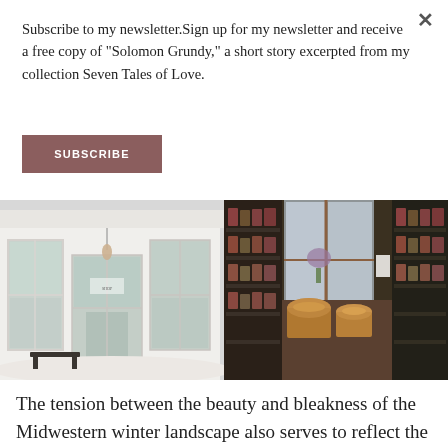Subscribe to my newsletter.Sign up for my newsletter and receive a free copy of "Solomon Grundy," a short story excerpted from my collection Seven Tales of Love.
SUBSCRIBE
[Figure (photo): Two side-by-side photographs: left shows a white Victorian-style shop exterior with bay windows in winter snow; right shows the interior of a shop with dark shelves lined with goods and baskets on a counter.]
The tension between the beauty and bleakness of the Midwestern winter landscape also serves to reflect the